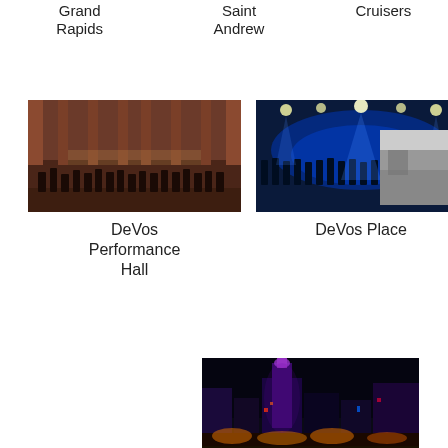Grand Rapids
Saint Andrew
Cruisers
[Figure (photo): Orchestra performing on stage in a concert hall with red/wood paneling]
DeVos Performance Hall
[Figure (photo): Choir or ensemble performing on stage with blue lighting]
DeVos Place
[Figure (photo): Black and white aerial or overhead view of arena/conference center]
DeltaPlex Arena & Conference Center
[Figure (photo): Night cityscape of Downtown Grand Rapids with colorful lights and streets]
Downtown Grand Rapids Inc.